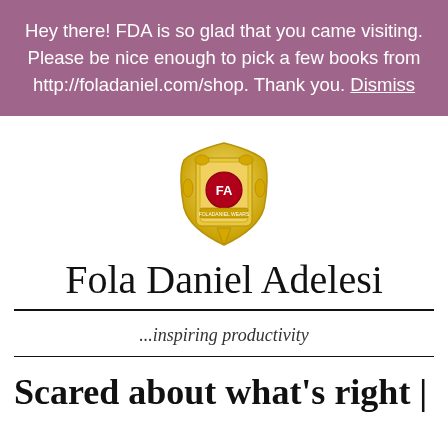Hey there! FDA is so glad that you came visiting. Please be nice enough to pick a few books from http://foladaniel.com/shop. Thank you. Dismiss
[Figure (logo): Fola Daniel Adelesi shield/crest logo with gold decorative border and red circular emblem with FA initials in center]
Fola Daniel Adelesi
...inspiring productivity
Scared about what's right |